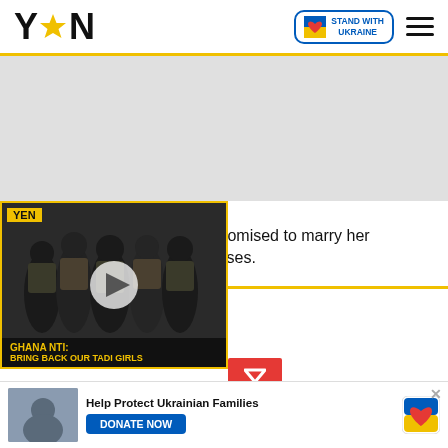YEN — Stand with Ukraine
[Figure (photo): Gray advertisement placeholder area]
According to the girl, Dr UN promised to marry her sometime relying on his promises.
[Figure (screenshot): Video overlay showing armed soldiers in tactical gear. YEN badge top-left. Play button centered. Caption reads: GHANA NTI: BRING BACK OUR TADI GIRLS]
l pregnant; video of
[Figure (infographic): Donate bar: photo of Ukrainian family, Help Protect Ukrainian Families text, DONATE NOW button, Ukraine heart flag logo]